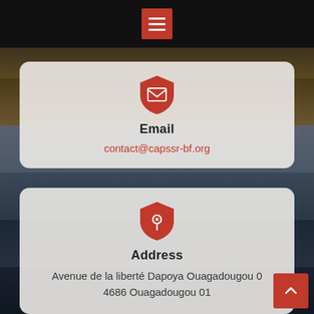[Figure (screenshot): Mobile app screenshot showing a navigation hamburger menu button (red background, white lines) in a dark top bar, over a city night background photo]
Email
contact@capssr-bf.org
Address
Avenue de la liberté Dapoya Ouagadougou 0
4686 Ouagadougou 01